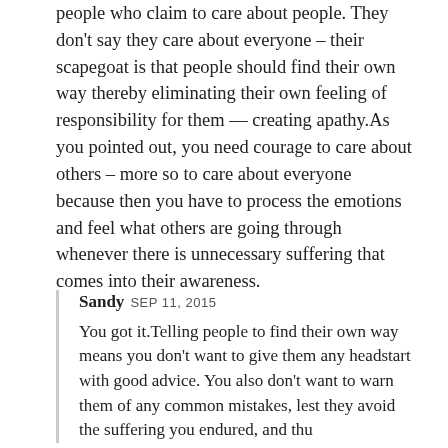people who claim to care about people. They don't say they care about everyone – their scapegoat is that people should find their own way thereby eliminating their own feeling of responsibility for them — creating apathy.As you pointed out, you need courage to care about others – more so to care about everyone because then you have to process the emotions and feel what others are going through whenever there is unnecessary suffering that comes into their awareness.
Sandy SEP 11, 2015
You got it.Telling people to find their own way means you don't want to give them any headstart with good advice. You also don't want to warn them of any common mistakes, lest they avoid the suffering you endured, and thu...